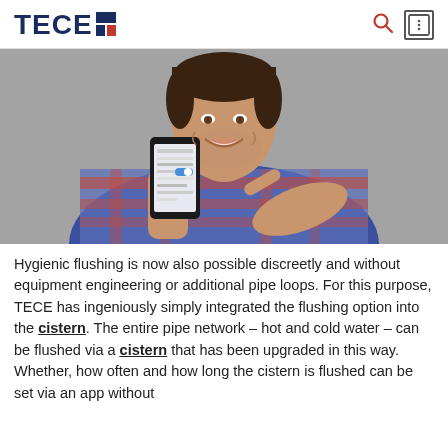TECE
[Figure (photo): Man in plaid shirt smiling and holding up a smartphone, pointing at its screen with his index finger. Grey background.]
Hygienic flushing is now also possible discreetly and without equipment engineering or additional pipe loops. For this purpose, TECE has ingeniously simply integrated the flushing option into the cistern. The entire pipe network – hot and cold water – can be flushed via a cistern that has been upgraded in this way. Whether, how often and how long the cistern is flushed can be set via an app without